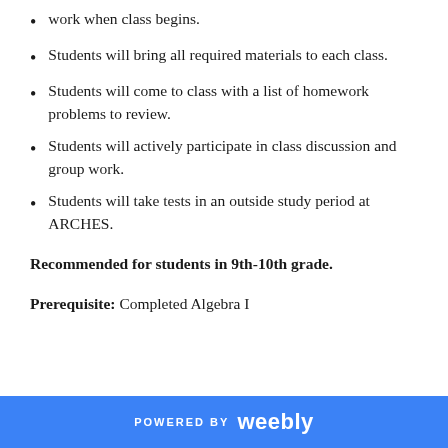work when class begins.
Students will bring all required materials to each class.
Students will come to class with a list of homework problems to review.
Students will actively participate in class discussion and group work.
Students will take tests in an outside study period at ARCHES.
Recommended for students in 9th-10th grade.
Prerequisite: Completed Algebra I
POWERED BY weebly